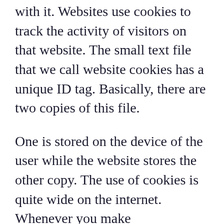with it. Websites use cookies to track the activity of visitors on that website. The small text file that we call website cookies has a unique ID tag. Basically, there are two copies of this file.
One is stored on the device of the user while the website stores the other copy. The use of cookies is quite wide on the internet. Whenever you make arrangements to enter your email address or Facebook profile without entering the password, cookies are being used to store your user ID and password.